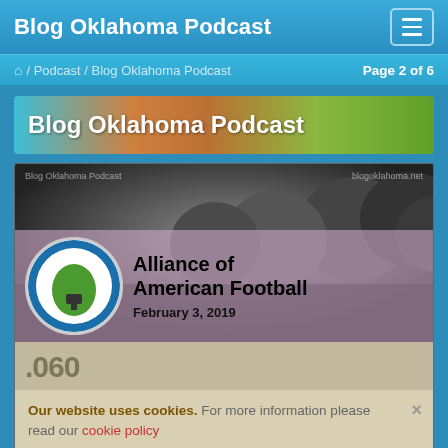Blog Oklahoma Podcast
🏠 / Podcast / Blog Oklahoma Podcast   Page 2 of 6
Blog Oklahoma Podcast
[Figure (illustration): Article card showing a grayscale football helmets image with Blog Oklahoma Podcast circular logo overlaid, showing 'Alliance of American Football' title and 'February 3, 2019' date, with episode number .060, and a cookie consent banner reading 'Our website uses cookies. For more information please read our cookie policy']
February 03, 2019